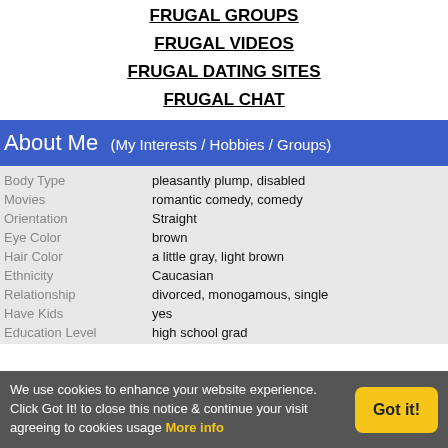FRUGAL GROUPS
FRUGAL VIDEOS
FRUGAL DATING SITES
FRUGAL CHAT
About Me  (My Interests / Hobbies / Groups)
| Body Type | pleasantly plump, disabled |
| Movies | romantic comedy, comedy |
| Orientation | Straight |
| Eye Color | brown |
| Hair Color | a little gray, light brown |
| Ethnicity | Caucasian |
| Relationship | divorced, monogamous, single |
| Have Kids | yes |
| Education Level | high school grad |
We use cookies to enhance your website experience. Click Got It! to close this notice & continue your visit agreeing to cookies usage More info